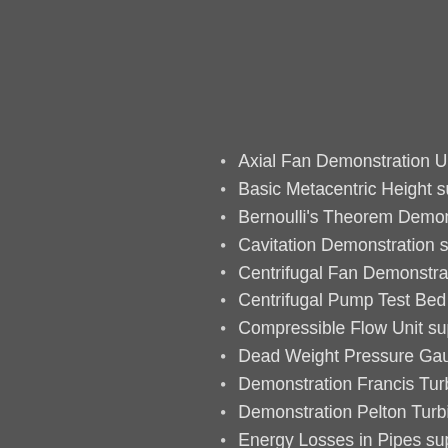Axial Fan Demonstration Un…
Basic Metacentric Height su…
Bernoulli's Theorem Demon…
Cavitation Demonstration su…
Centrifugal Fan Demonstrat…
Centrifugal Pump Test Bed s…
Compressible Flow Unit supp…
Dead Weight Pressure Gau…
Demonstration Francis Turb…
Demonstration Pelton Turbi…
Energy Losses in Pipes sup…
Flow Meter Demonstration U…
Fluid Friction Measurement…